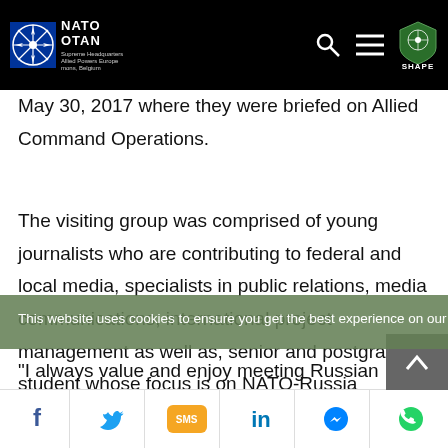NATO / OTAN – Supreme Headquarters Allied Powers Europe (SHAPE) navigation bar
May 30, 2017 where they were briefed on Allied Command Operations.
The visiting group was comprised of young journalists who are contributing to federal and local media, specialists in public relations, media communications, international project management as well as, senior and postgraduate student whose focus is on NATO-Russia relations.
"I always value and enjoy meeting Russian
This website uses cookies to ensure you get the best experience on our website.
Social sharing icons: Facebook, Twitter, SMS, LinkedIn, Messenger, WhatsApp